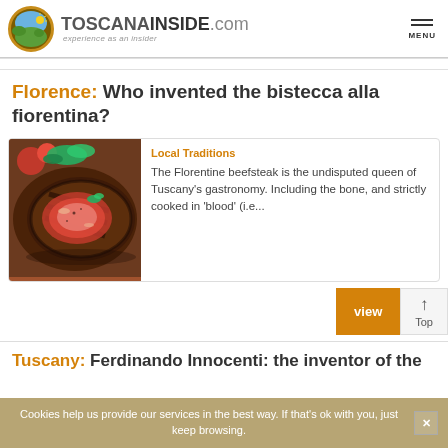TOSCANAINSIDE.com — experience as an insider
Florence: Who invented the bistecca alla fiorentina?
Local Traditions
The Florentine beefsteak is the undisputed queen of Tuscany's gastronomy. Including the bone, and strictly cooked in 'blood' (i.e...
[Figure (photo): Close-up photo of a bistecca alla fiorentina (Florentine beefsteak), grilled and sliced, showing red interior with herbs and tomatoes]
Tuscany: Ferdinando Innocenti: the inventor of the
Cookies help us provide our services in the best way. If that's ok with you, just keep browsing.